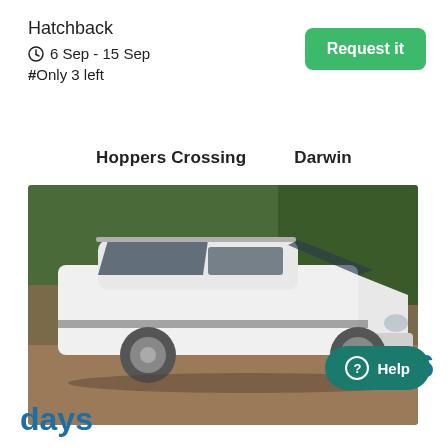Hatchback
6 Sep - 15 Sep
#Only 3 left
Request it
Hoppers Crossing    Darwin
[Figure (photo): White station wagon / hatchback car parked on a red dirt/gravel surface with green trees in background]
Free 6
Help
days